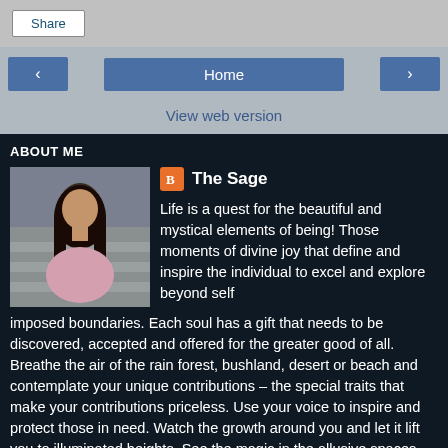Share
[Figure (screenshot): Navigation bar with back arrow, Home button, and forward arrow buttons on gray background]
View web version
ABOUT ME
[Figure (photo): Profile photo of a woman with long dark hair wearing a pink top, seated outdoors on steps]
The Sage
Life is a quest for the beautiful and mystical elements of being! Those moments of divine joy that define and inspire the individual to excel and explore beyond self imposed boundaries. Each soul has a gift that needs to be discovered, accepted and offered for the greater good of all. Breathe the air of the rain forest, bushland, desert or beach and contemplate your unique contributions – the special traits that make your contributions priceless. Use your voice to inspire and protect those in need. Watch the growth around you and let it lift you to illuminated heights. See the magic in the allusive spaces between the potent dawn and dusky evening. Become a sage of grace, wisdom and mastery by living what you believe and leading by example. The Sage - Sharon Bush